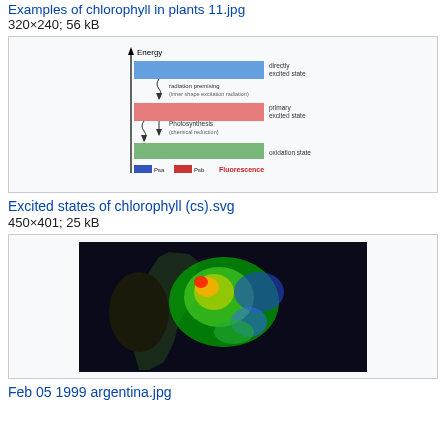Examples of chlorophyll in plants 11.jpg
320×240; 56 kB
[Figure (illustration): Diagram showing excited states of chlorophyll with energy levels depicted as colored horizontal bands (blue, red, green) with wavy arrows and labels for processes like excitation, fluorescence, and oxidation states.]
Excited states of chlorophyll (cs).svg
450×401; 25 kB
[Figure (photo): Satellite image showing chlorophyll distribution (false-color) off the coast of Argentina, Feb 05 1999, with bright green, yellow, red, and blue areas on a dark background.]
Feb 05 1999 argentina.jpg